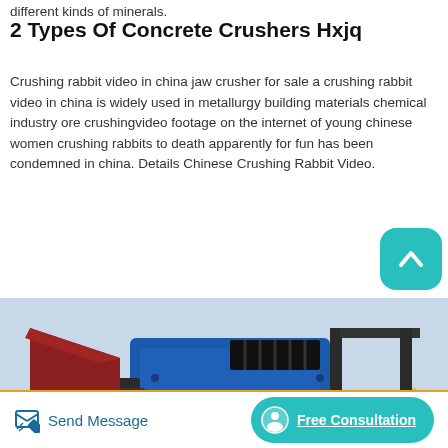different kinds of minerals.
2 Types Of Concrete Crushers Hxjq
Crushing rabbit video in china jaw crusher for sale a crushing rabbit video in china is widely used in metallurgy building materials chemical industry ore crushingvideo footage on the internet of young chinese women crushing rabbits to death apparently for fun has been condemned in china. Details Chinese Crushing Rabbit Video.
[Figure (photo): Industrial concrete crusher machine with blue, red, and yellow components on a conveyor system.]
Send Message   Free Consultation